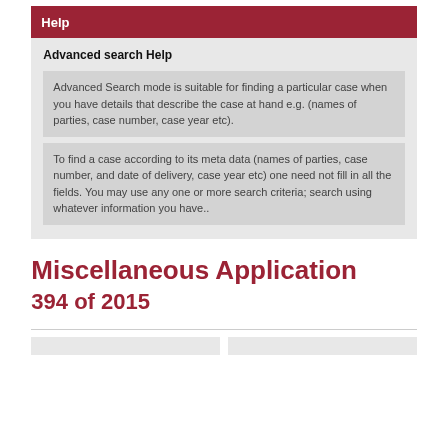Help
Advanced search Help
Advanced Search mode is suitable for finding a particular case when you have details that describe the case at hand e.g. (names of parties, case number, case year etc).
To find a case according to its meta data (names of parties, case number, and date of delivery, case year etc) one need not fill in all the fields. You may use any one or more search criteria; search using whatever information you have..
Miscellaneous Application
394 of 2015